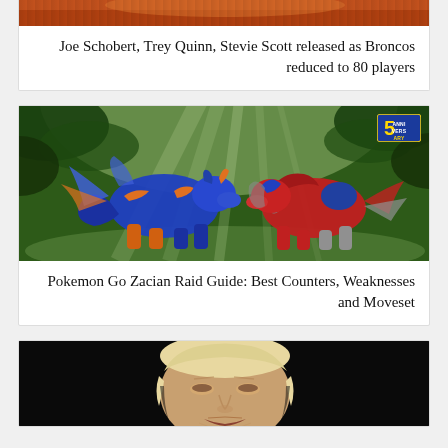[Figure (photo): Partial image of a person in an orange sports jersey (Denver Broncos)]
Joe Schobert, Trey Quinn, Stevie Scott released as Broncos reduced to 80 players
[Figure (photo): Pokemon Go Zacian raid image showing two large wolf-like Pokemon creatures facing each other in a forest setting, with a 5th Anniversary badge in the top right corner]
Pokemon Go Zacian Raid Guide: Best Counters, Weaknesses and Moveset
[Figure (photo): Close-up photo of a man's face (appearing to be a politician) against a black background, looking upward with mouth slightly open]